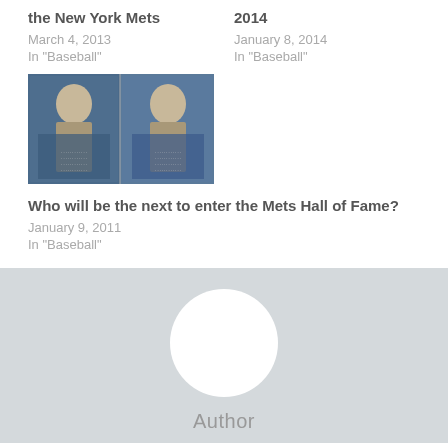the New York Mets
March 4, 2013
In "Baseball"
2014
January 8, 2014
In "Baseball"
[Figure (photo): Two blue Hall of Fame plaques with portrait reliefs side by side]
Who will be the next to enter the Mets Hall of Fame?
January 9, 2011
In "Baseball"
[Figure (logo): Green and white geometric soccer-ball-style circular logo]